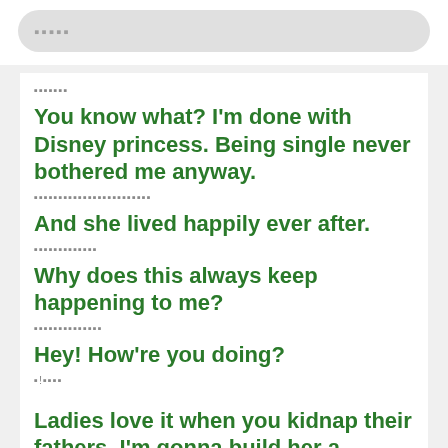[Figure (screenshot): Search bar with placeholder dots]
▪▪▪▪▪▪▪
You know what? I'm done with Disney princess. Being single never bothered me anyway.
▪▪▪▪▪▪▪▪▪▪▪▪▪▪▪▪▪▪▪▪▪▪▪▪
And she lived happily ever after.
▪▪▪▪▪▪▪▪▪▪▪▪▪
Why does this always keep happening to me?
▪▪▪▪▪▪▪▪▪▪▪▪▪▪
Hey! How're you doing?
▪!▪▪▪▪
Ladies love it when you kidnap their fathers. I'm gonna build her a library, if you know what I mean. And by that, I mean I'm going to actually